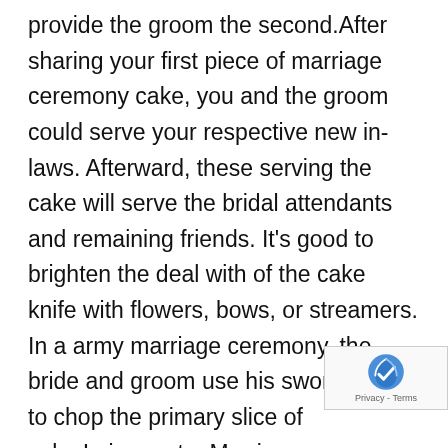provide the groom the second.After sharing your first piece of marriage ceremony cake, you and the groom could serve your respective new in-laws. Afterward, these serving the cake will serve the bridal attendants and remaining friends. It's good to brighten the deal with of the cake knife with flowers, bows, or streamers. In a army marriage ceremony, the bride and groom use his sword/saber to chop the primary slice of cake.Leisure at a Marriage ceremony ReceptionThe following are a couple of of the extra frequent traditions anticipated from the leisure at a marriage reception:- Toasting the bridal couple: This normally begins proper after the receiving line is accomplished, and earlier than the meals is served at a proper reception. It's historically led by the most effective man. Following a army marriage ceremony, the prim toast normally welcomes the bride into the service. arch could once more be shaped over her head throughout
[Figure (other): reCAPTCHA badge with logo and Privacy - Terms link]